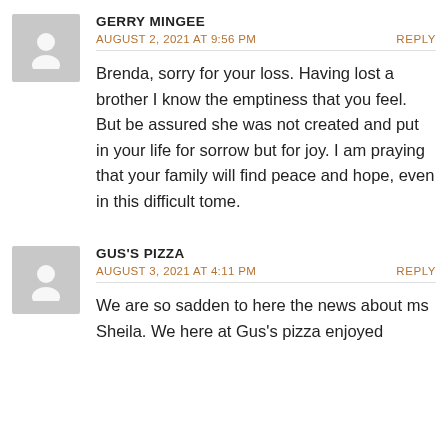GERRY MINGEE
AUGUST 2, 2021 AT 9:56 PM
REPLY
Brenda, sorry for your loss. Having lost a brother I know the emptiness that you feel. But be assured she was not created and put in your life for sorrow but for joy. I am praying that your family will find peace and hope, even in this difficult tome.
GUS'S PIZZA
AUGUST 3, 2021 AT 4:11 PM
REPLY
We are so sadden to here the news about ms Sheila. We here at Gus's pizza enjoyed